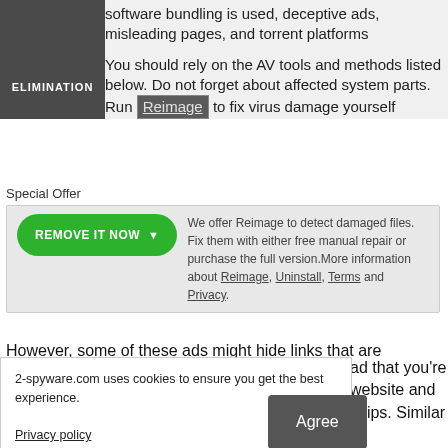|  | software bundling is used, deceptive ads, misleading pages, and torrent platforms |
| ELIMINATION | You should rely on the AV tools and methods listed below. Do not forget about affected system parts. Run Reimage to fix virus damage yourself |
Special Offer
We offer Reimage to detect damaged files. Fix them with either free manual repair or purchase the full version.More information about Reimage, Uninstall, Terms and Privacy.
However, some of these ads might hide links that are
2-spyware.com uses cookies to ensure you get the best experience.
Privacy policy
Agree
ad that you're website and ships. Similar